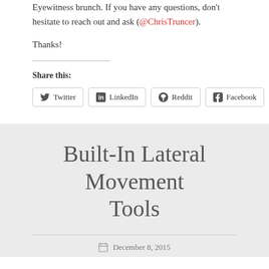Eyewitness brunch. If you have any questions, don't hesitate to reach out and ask (@ChrisTruncer).
Thanks!
Share this:
Twitter | LinkedIn | Reddit | Facebook | More
Built-In Lateral Movement Tools
December 8, 2015